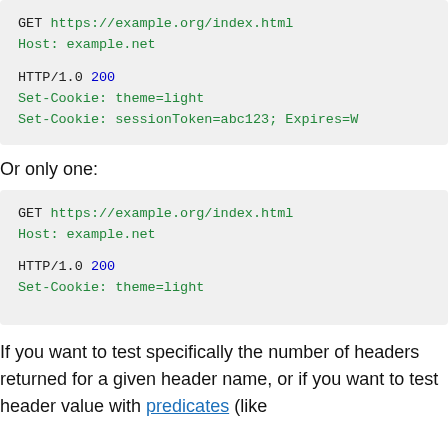GET https://example.org/index.html
Host: example.net

HTTP/1.0 200
Set-Cookie: theme=light
Set-Cookie: sessionToken=abc123; Expires=W
Or only one:
GET https://example.org/index.html
Host: example.net

HTTP/1.0 200
Set-Cookie: theme=light
If you want to test specifically the number of headers returned for a given header name, or if you want to test header value with predicates (like